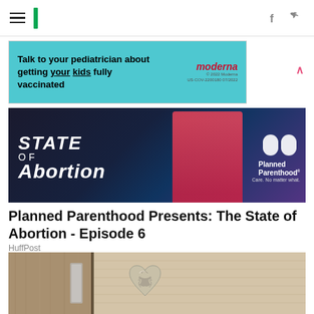HuffPost navigation bar with hamburger menu, logo, Facebook and Twitter icons
[Figure (photo): Moderna advertisement banner: 'Talk to your pediatrician about getting your kids fully vaccinated' on teal background with Moderna logo]
[Figure (screenshot): Video thumbnail showing 'STATE OF Abortion' text overlay with Planned Parenthood logo and a woman in red]
Planned Parenthood Presents: The State of Abortion - Episode 6
HuffPost
[Figure (photo): Close-up photo of a decorative silver/metallic heart-shaped door knocker on a door]